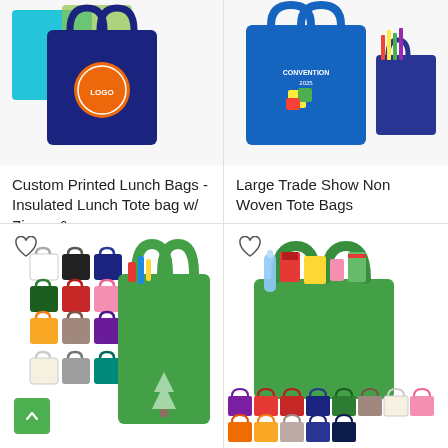[Figure (photo): Custom printed insulated lunch bag in navy blue with orange circular logo, teal and green bags visible behind]
Custom Printed Lunch Bags - Insulated Lunch Tote bag w/ Zipper &...
$3.79
[Figure (photo): Large trade show non woven tote bags in navy/royal blue with convention logo, smaller navy bag beside]
Large Trade Show Non Woven Tote Bags
$1.89
[Figure (photo): Green non-woven grocery tote bag with tree logo, surrounded by color swatches of small tote bags in white, black, navy, dark green, red, pink, yellow, tan, purple, natural, gray, teal. Heart/wishlist icon and green scroll-up button.]
[Figure (photo): Green non-woven large tote bag filled with groceries and items, color swatch row of tote bags below in purple, red, dark red, navy, green, taupe, natural, pink, orange, yellow, tan, navy, dark navy. Heart/wishlist icon.]